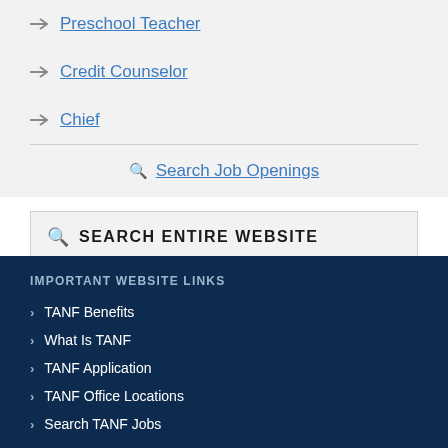→ Preschool Teacher
→ Credit Counselor
→ Chief
🔍 Search Job Openings
🔍 SEARCH ENTIRE WEBSITE
Enter Keywords
IMPORTANT WEBSITE LINKS
› TANF Benefits
› What Is TANF
› TANF Application
› TANF Office Locations
› Search TANF Jobs